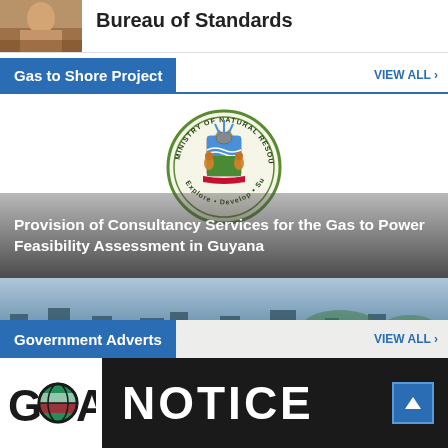[Figure (photo): Partial top strip showing a photograph (person at desk) and title text 'Bureau of Standards']
Bureau of Standards
Gas to Shore Project
VIEW ALL >
[Figure (logo): Ministry of Natural Resources circular seal/logo with coat of arms and motto 'Explore Develop Sustain']
Provision of Consultancy Services for the Gas to Power Feasibility Assessment in Guyana
[Figure (photo): Aerial cityscape photograph used as background for Government Adverts section]
Government Adverts
VIEW ALL >
[Figure (logo): GRA (Guyana Revenue Authority) logo with globe emblem]
NOTICE